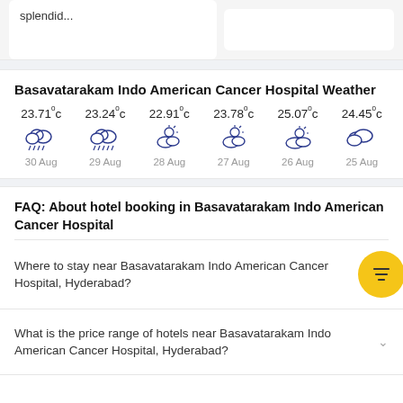splendid...
Basavatarakam Indo American Cancer Hospital Weather
[Figure (infographic): Weather forecast showing 6 days: 30 Aug 23.71c (rain/cloud), 29 Aug 23.24c (rain/cloud), 28 Aug 22.91c (partly cloudy/sun), 27 Aug 23.78c (partly cloudy/sun), 26 Aug 25.07c (partly cloudy), 25 Aug 24.45c (cloudy)]
FAQ: About hotel booking in Basavatarakam Indo American Cancer Hospital
Where to stay near Basavatarakam Indo American Cancer Hospital, Hyderabad?
What is the price range of hotels near Basavatarakam Indo American Cancer Hospital, Hyderabad?